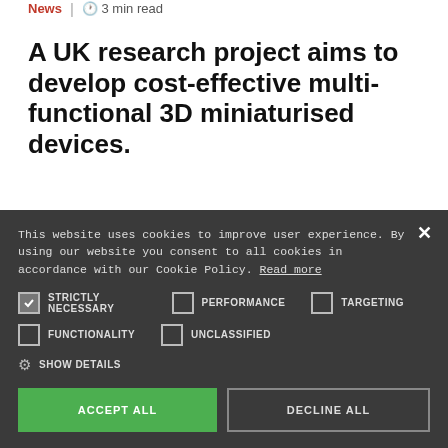Another dimension
News | 3 min read
A UK research project aims to develop cost-effective multi-functional 3D miniaturised devices.
[Figure (photo): Colorful image strip visible behind cookie banner]
This website uses cookies to improve user experience. By using our website you consent to all cookies in accordance with our Cookie Policy. Read more
STRICTLY NECESSARY (checked), PERFORMANCE (unchecked), TARGETING (unchecked)
FUNCTIONALITY (unchecked), UNCLASSIFIED (unchecked)
SHOW DETAILS
ACCEPT ALL
DECLINE ALL